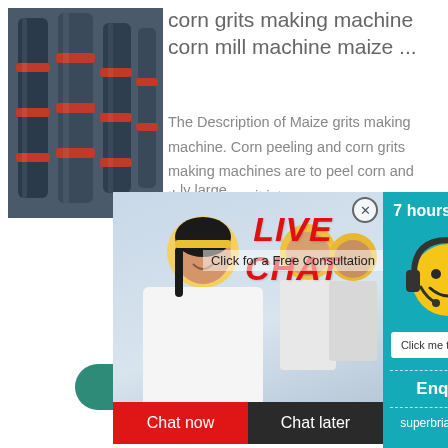[Figure (photo): Industrial corn grits making machine with cylindrical equipment and red bands]
corn grits making machine corn mill machine maize ...
The Description of Maize grits making machine. Corn peeling and corn grits making machines are to peel corn and then process it into ...ly large
peeling, germ removal, black navel removal, grinding, grading, and corn grits at one time
[Figure (photo): Live Chat popup overlay showing workers in yellow hard hats, LIVE CHAT heading in red italic, Click for a Free Consultation text, Chat now and Chat later buttons, teal panel with smiley face headset mascot, 7 hours online, Click me to chat >>, Enquiry section, and email superbrian707@g...]
More